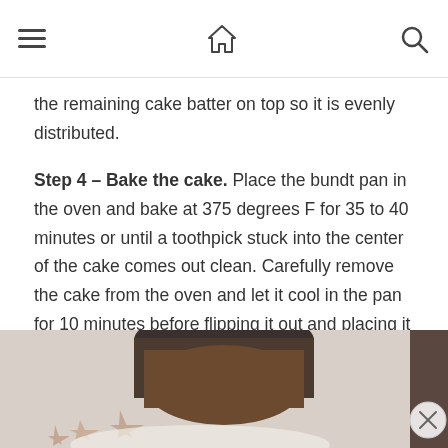navigation header with hamburger menu, home icon, and search icon
the remaining cake batter on top so it is evenly distributed.
Step 4 – Bake the cake. Place the bundt pan in the oven and bake at 375 degrees F for 35 to 40 minutes or until a toothpick stuck into the center of the cake comes out clean. Carefully remove the cake from the oven and let it cool in the pan for 10 minutes before flipping it out and placing it on a wire rack. Allow the cake to cool completely.
[Figure (photo): Partial photo of a bundt cake with decorative star-shaped cookies or decorations on a white surface, partially clipped at bottom of page]